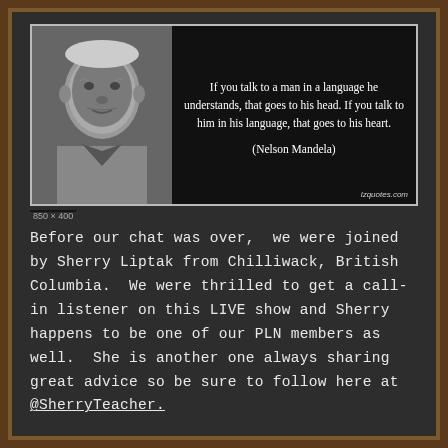[Figure (photo): Quote card with black background. Left side shows a black-and-white photograph of Nelson Mandela (elderly man). Right side has white text quote: 'If you talk to a man in a language he understands, that goes to his head. If you talk to him in his language, that goes to his heart.' Attribution: (Nelson Mandela). Bottom right: lzquotes.com]
Before our chat was over,  we were joined by Sherry Liptak from Chilliwack, British Columbia.  We were thrilled to get a call-in listener on this LIVE show and Sherry happens to be one of our PLN members as well.  She is another one always sharing great advice so be sure to follow here at @SherryTeacher.